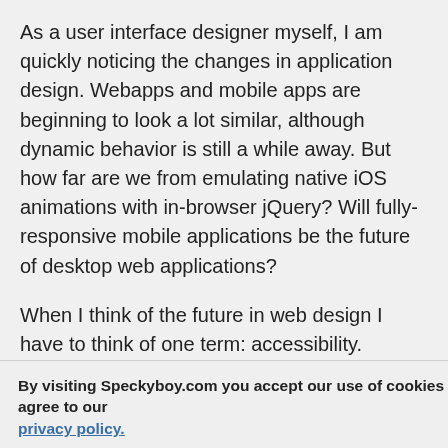As a user interface designer myself, I am quickly noticing the changes in application design. Webapps and mobile apps are beginning to look a lot similar, although dynamic behavior is still a while away. But how far are we from emulating native iOS animations with in-browser jQuery? Will fully-responsive mobile applications be the future of desktop web applications?
When I think of the future in web design I have to think of one term: accessibility. Designers are more intelligent nowadays, and they have an easier time selecting a market ... rgeting ... product the ... ng to vary based
By visiting Speckyboy.com you accept our use of cookies and agree to our privacy policy.
OK!
[Figure (photo): Blurry colorful bokeh photo strip at bottom of page, left side warm tones, right side purple/pink/dark blue bokeh lights]